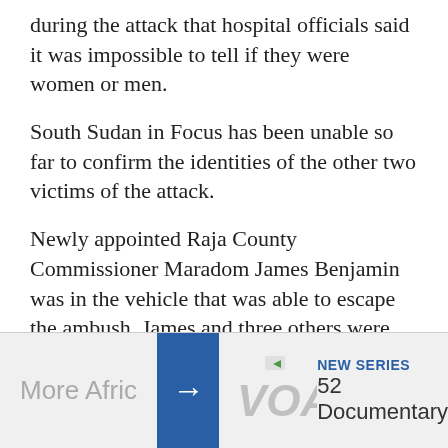during the attack that hospital officials said it was impossible to tell if they were women or men.
South Sudan in Focus has been unable so far to confirm the identities of the other two victims of the attack.
Newly appointed Raja County Commissioner Maradom James Benjamin was in the vehicle that was able to escape the ambush. James and three others were wounded in the attack but none received life-threatening injuries.
More Africa → VOA NEW SERIES 52 Documentary